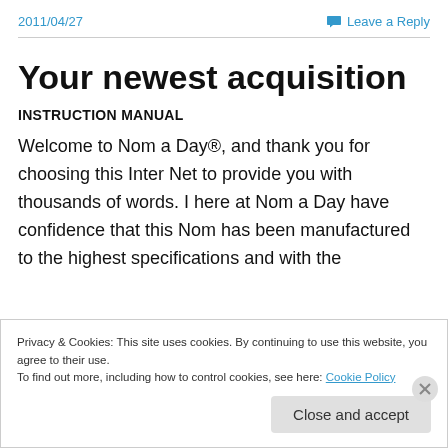2011/04/27   Leave a Reply
Your newest acquisition
INSTRUCTION MANUAL
Welcome to Nom a Day®, and thank you for choosing this Inter Net to provide you with thousands of words. I here at Nom a Day have confidence that this Nom has been manufactured to the highest specifications and with the
Privacy & Cookies: This site uses cookies. By continuing to use this website, you agree to their use.
To find out more, including how to control cookies, see here: Cookie Policy